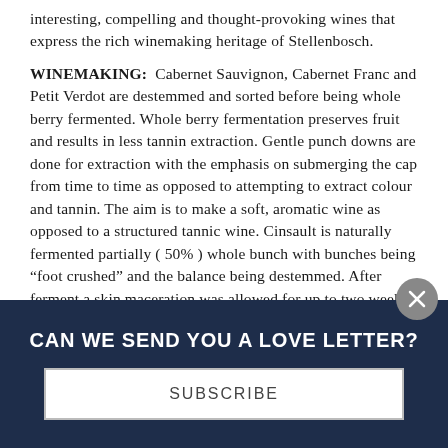interesting, compelling and thought-provoking wines that express the rich winemaking heritage of Stellenbosch. WINEMAKING: Cabernet Sauvignon, Cabernet Franc and Petit Verdot are destemmed and sorted before being whole berry fermented. Whole berry fermentation preserves fruit and results in less tannin extraction. Gentle punch downs are done for extraction with the emphasis on submerging the cap from time to time as opposed to attempting to extract colour and tannin. The aim is to make a soft, aromatic wine as opposed to a structured tannic wine. Cinsault is naturally fermented partially ( 50% ) whole bunch with bunches being “foot crushed” and the balance being destemmed. After ferment a skin maceration was allowed for up to two weeks, followed by basket pressing. Varietals were aged separately for 12 months, blended and then aged for further months before being bottled without...
CAN WE SEND YOU A LOVE LETTER?
SUBSCRIBE